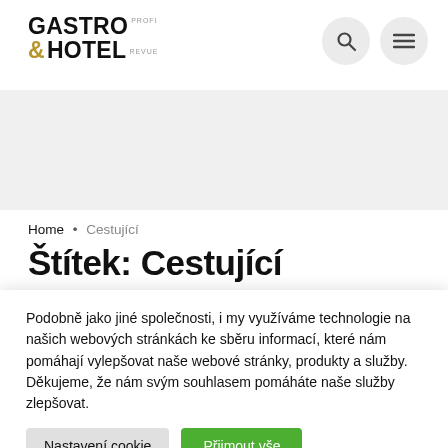GASTRO & HOTEL PROFI REVUE
[Figure (logo): Gastro & Hotel Profi Revue logo with bold black text and gold ampersand]
Home • Cestující
Štítek: Cestující
Podobně jako jiné společnosti, i my využíváme technologie na našich webových stránkách ke sběru informací, které nám pomáhají vylepšovat naše webové stránky, produkty a služby. Děkujeme, že nám svým souhlasem pomáháte naše služby zlepšovat.
Nastavení cookie | Přijmout vše